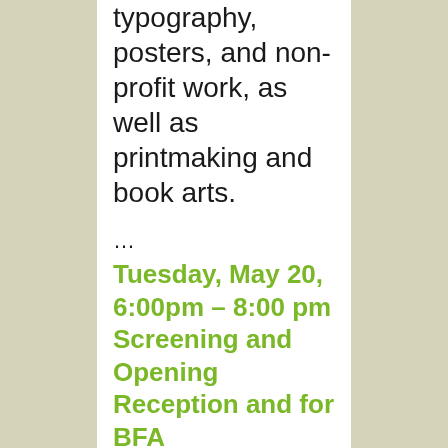typography, posters, and non-profit work, as well as printmaking and book arts.
…
Tuesday, May 20, 6:00pm – 8:00 pm Screening and Opening Reception and for BFA Communication Design / BFA